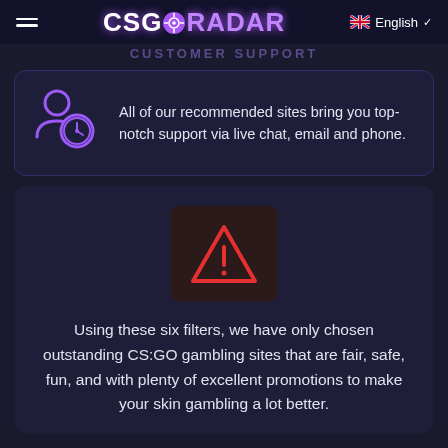CSGORADAR  English
CUSTOMER SUPPORT
[Figure (illustration): Purple neon icon of two people with a clock, representing customer support]
All of our recommended sites bring you top-notch support via live chat, email and phone.
[Figure (illustration): Red warning triangle with exclamation mark inside a dark reddish square box]
Using these six filters, we have only chosen outstanding CS:GO gambling sites that are fair, safe, fun, and with plenty of excellent promotions to make your skin gambling a lot better.